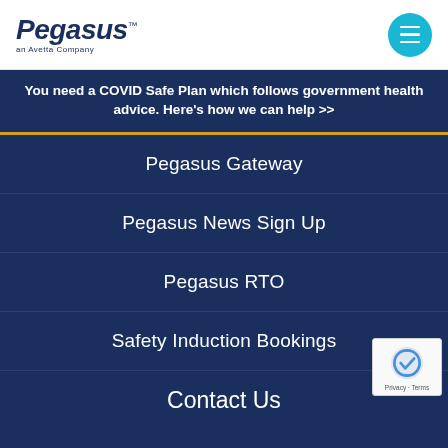Pegasus an Avetta Company
You need a COVID Safe Plan which follows government health advice. Here's how we can help >>
Pegasus Gateway
Pegasus News Sign Up
Pegasus RTO
Safety Induction Bookings
Contact Us